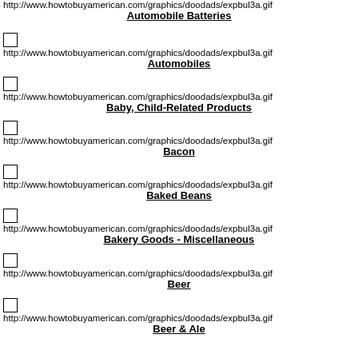Automobile Batteries
Automobiles
Baby, Child-Related Products
Bacon
Baked Beans
Bakery Goods - Miscellaneous
Beer
Beer & Ale
Boat and Stationary Motors
Boats